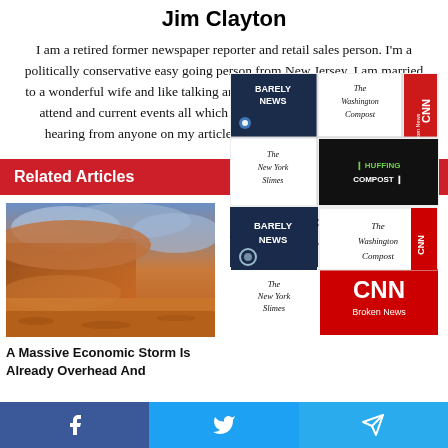Jim Clayton
I am a retired former newspaper reporter and retail sales person. I'm a politically conservative easy going person from New Jersey. I am married to a wonderful wife and like talking and writing about movies,, concerts I attend and current events all which I write about here. I would enjoy hearing from anyone on my articles and they can write to me here.
Related Articles
[Figure (photo): A massive dust storm approaching over a red sandy desert landscape with dramatic orange and blue skies.]
A Massive Economic Storm Is Already Overhead And
[Figure (illustration): A collage of fake/satirical news media logos: 'Barely News' (NBC parody), 'The Washington Compost', 'CNN Broken News', 'The New York Slimes', 'Huffing Compost'.]
It's Time For Corporate Media To Tell The Truth About
Social share buttons: Facebook, Twitter, Telegram